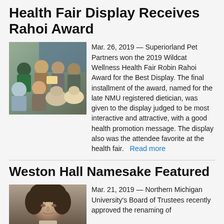Health Fair Display Receives Rahoi Award
[Figure (photo): Group photo of Superiorland Pet Partners at the Wildcat Wellness Health Fair, showing several people and two dogs posing together in front of a chalkboard sign.]
Mar. 26, 2019 — Superiorland Pet Partners won the 2019 Wildcat Wellness Health Fair Robin Rahoi Award for the Best Display. The final installment of the award, named for the late NMU registered dietician, was given to the display judged to be most interactive and attractive, with a good health promotion message. The display also was the attendee favorite at the health fair. Read more
Weston Hall Namesake Featured
[Figure (photo): Black and white historical portrait photograph of a person, likely a woman with Victorian-era styling.]
Mar. 21, 2019 — Northern Michigan University's Board of Trustees recently approved the renaming of